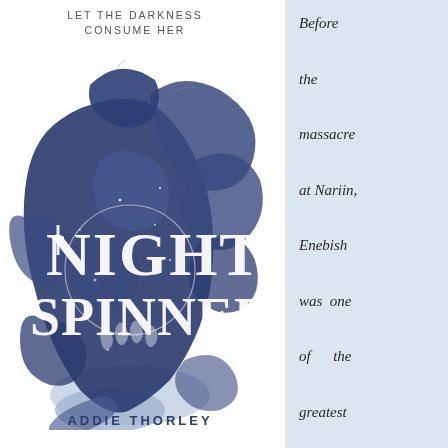[Figure (illustration): Book cover of 'Night Spinner' by Addie Thorley. Shows a dark blue silhouette of a woman's profile filled with dark navy floral/petal shapes and swirling ink. The title 'NIGHT SPINNER' is written in large white serif letters across the silhouette. The tagline 'LET THE DARKNESS CONSUME HER' appears at the top in small caps, and the author name 'ADDIE THORLEY' appears at the bottom.]
Before the massacre at Nariin, Enebish was one of the greatest warriors in the Sky King's Imperial Army: a rare and